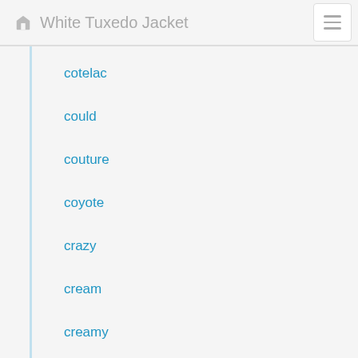White Tuxedo Jacket
cotelac
could
couture
coyote
crazy
cream
creamy
crew
crimson
cropped